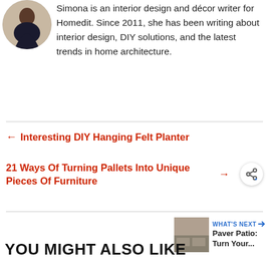[Figure (photo): Circular avatar photo of Simona, an interior design writer]
Simona is an interior design and décor writer for Homedit. Since 2011, she has been writing about interior design, DIY solutions, and the latest trends in home architecture.
← Interesting DIY Hanging Felt Planter
21 Ways Of Turning Pallets Into Unique Pieces Of Furniture →
[Figure (photo): What's Next thumbnail showing a paver patio]
WHAT'S NEXT → Paver Patio: Turn Your...
YOU MIGHT ALSO LIKE